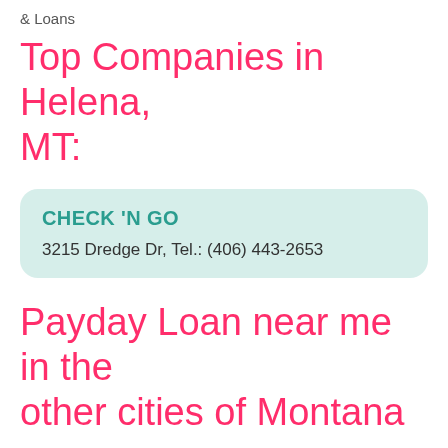& Loans
Top Companies in Helena, MT:
CHECK 'N GO
3215 Dredge Dr, Tel.: (406) 443-2653
Payday Loan near me in the other cities of Montana
Wrong city?